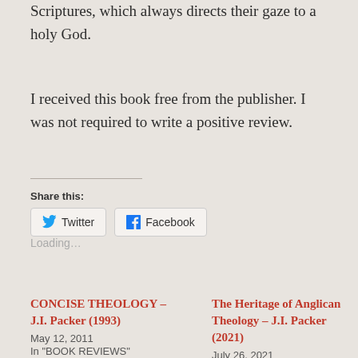Scriptures, which always directs their gaze to a holy God.
I received this book free from the publisher. I was not required to write a positive review.
Share this:
Twitter  Facebook
Loading…
CONCISE THEOLOGY – J.I. Packer (1993)
May 12, 2011
In "BOOK REVIEWS"
The Heritage of Anglican Theology – J.I. Packer (2021)
July 26, 2021
In "BOOK REVIEWS"